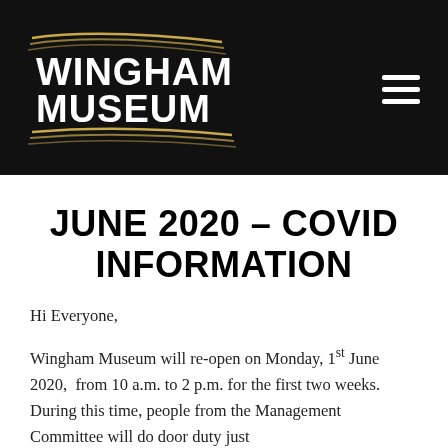Wingham Museum
JUNE 2020 – COVID INFORMATION
Hi Everyone,
Wingham Museum will re-open on Monday, 1st June 2020, from 10 a.m. to 2 p.m. for the first two weeks.  During this time, people from the Management Committee will do door duty just